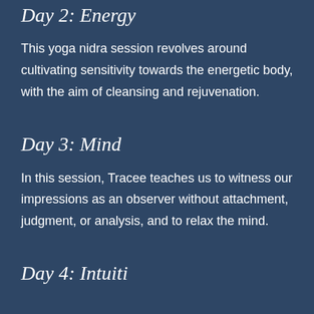Day 2: Energy
This yoga nidra session revolves around cultivating sensitivity towards the energetic body, with the aim of cleansing and rejuvenation.
Day 3: Mind
In this session, Tracee teaches us to witness our impressions as an observer without attachment, judgment, or analysis, and to relax the mind.
Day 4: Intuiti...